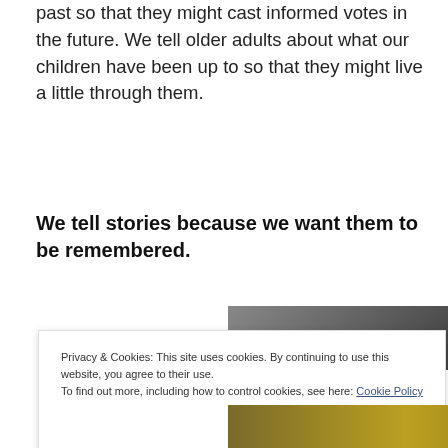past so that they might cast informed votes in the future. We tell older adults about what our children have been up to so that they might live a little through them.
We tell stories because we want them to be remembered.
[Figure (photo): Partial view of a person's hand near a doorframe or wall, dark interior scene]
Privacy & Cookies: This site uses cookies. By continuing to use this website, you agree to their use.
To find out more, including how to control cookies, see here: Cookie Policy
[Figure (photo): Bottom portion of a photo showing a person in yellow/green clothing]